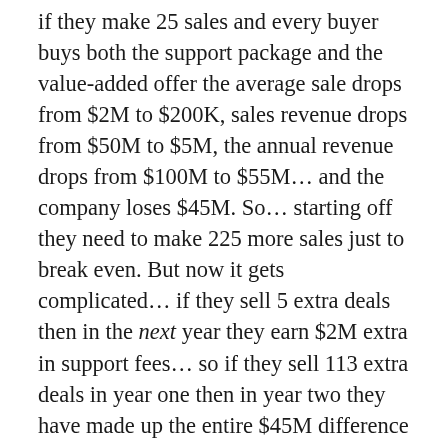if they make 25 sales and every buyer buys both the support package and the value-added offer the average sale drops from $2M to $200K, sales revenue drops from $50M to $5M, the annual revenue drops from $100M to $55M… and the company loses $45M. So… starting off they need to make 225 more sales just to break even. But now it gets complicated… if they sell 5 extra deals then in the next year they earn $2M extra in support fees… so if they sell 113 extra deals in year one then in year two they have made up the entire $45M difference and they are back to break-even going forward. If it takes them 2 years to get the extra recurring revenue then they lose money in year two… but are back to break-even in year three.